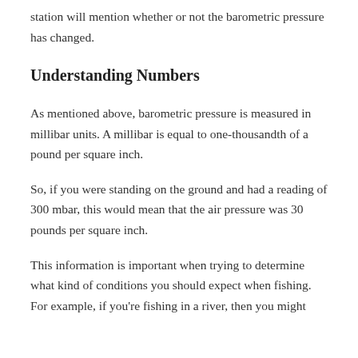station will mention whether or not the barometric pressure has changed.
Understanding Numbers
As mentioned above, barometric pressure is measured in millibar units. A millibar is equal to one-thousandth of a pound per square inch.
So, if you were standing on the ground and had a reading of 300 mbar, this would mean that the air pressure was 30 pounds per square inch.
This information is important when trying to determine what kind of conditions you should expect when fishing. For example, if you're fishing in a river, then you might